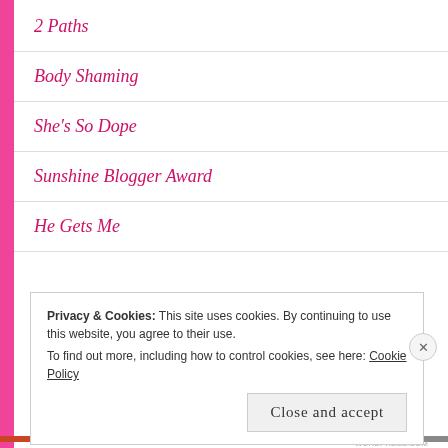2 Paths
Body Shaming
She's So Dope
Sunshine Blogger Award
He Gets Me
Privacy & Cookies: This site uses cookies. By continuing to use this website, you agree to their use.
To find out more, including how to control cookies, see here: Cookie Policy
Close and accept